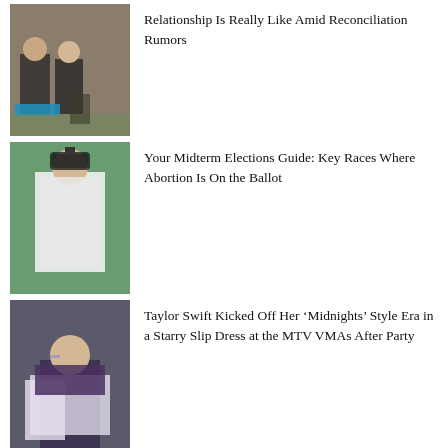[Figure (photo): Two people in swimwear standing outdoors near a blue tub and a dog]
Relationship Is Really Like Amid Reconciliation Rumors
[Figure (photo): Woman in white blazer speaking into a microphone outdoors]
Your Midterm Elections Guide: Key Races Where Abortion Is On the Ballot
[Figure (photo): Taylor Swift in a blue slip dress and white fur wrap exiting a car]
Taylor Swift Kicked Off Her ‘Midnights’ Style Era in a Starry Slip Dress at the MTV VMAs After Party
[Figure (photo): Partial thumbnail of fourth article]
ELLE Escapes: Reykjavik